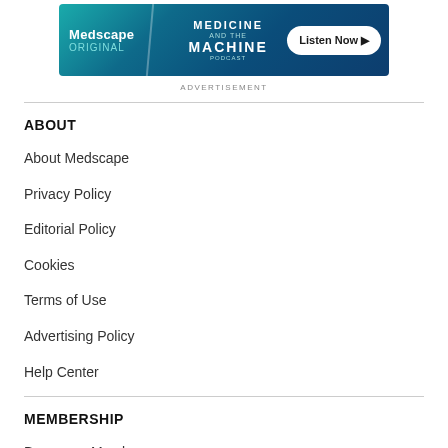[Figure (other): Medscape Original - Medicine and the Machine podcast advertisement banner with Listen Now button]
ADVERTISEMENT
ABOUT
About Medscape
Privacy Policy
Editorial Policy
Cookies
Terms of Use
Advertising Policy
Help Center
MEMBERSHIP
Become a Member